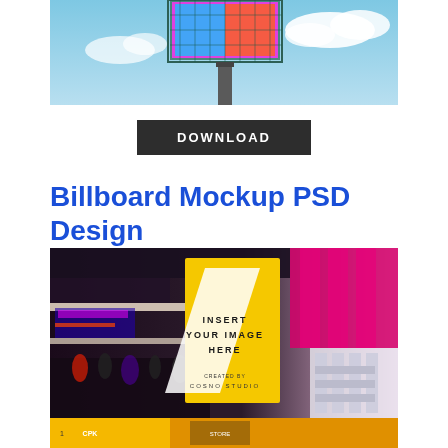[Figure (photo): Billboard structure against blue sky with clouds, mounted on a pole, colorful display at top]
DOWNLOAD
Billboard Mockup PSD Design
[Figure (photo): Indoor mall/shopping center with multiple floors, a large yellow billboard mockup in the center showing INSERT YOUR IMAGE HERE with a white diagonal slash, CREATED BY COSNO STUDIO text at bottom of billboard. Bottom strip shows mall storefront.]